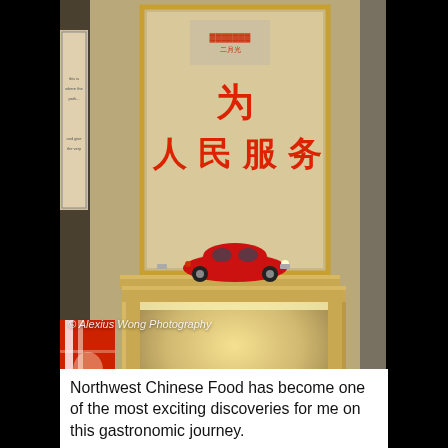[Figure (photo): Interior photo of what appears to be a Chinese restaurant or café decoration. A framed poster with Chinese calligraphy reading '为人民服务' (Serve the People) hangs on a beige/tan wall. A red toy Volkswagen Beetle car sits on top of a wooden display shelf/niche below the poster. Inside the lit wooden niche, several green and white Chinese product boxes (possibly tea or medicine packages) are arranged at the bottom. To the left, partially visible, are other framed items including what appears to be a red/white striped item. Photo credit watermark reads '© Alexius Wong Photography'.]
© Alexius Wong Photography
Northwest Chinese Food has become one of the most exciting discoveries for me on this gastronomic journey.